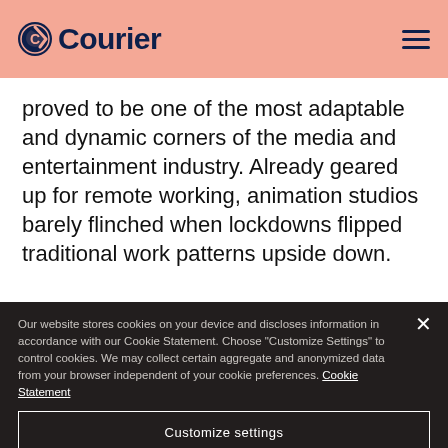Courier
proved to be one of the most adaptable and dynamic corners of the media and entertainment industry. Already geared up for remote working, animation studios barely flinched when lockdowns flipped traditional work patterns upside down.
Our website stores cookies on your device and discloses information in accordance with our Cookie Statement. Choose "Customize Settings" to control cookies. We may collect certain aggregate and anonymized data from your browser independent of your cookie preferences. Cookie Statement
Customize settings